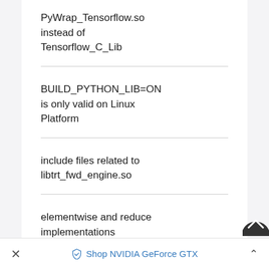PyWrap_Tensorflow.so instead of Tensorflow_C_Lib
BUILD_PYTHON_LIB=ON is only valid on Linux Platform
include files related to libtrt_fwd_engine.so
elementwise and reduce implementations
× Shop NVIDIA GeForce GTX ^